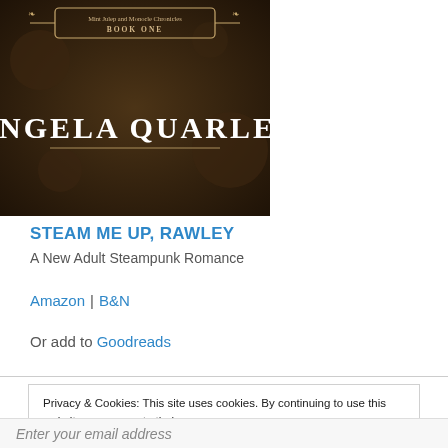[Figure (photo): Book cover for 'Steam Me Up, Rawley' by Angela Quarles — dark steampunk themed cover with the text 'Mint Julep and Monocle Chronicles BOOK ONE' at top, and 'ANGELA QUARLES' in large white letters in the center]
STEAM ME UP, RAWLEY
A New Adult Steampunk Romance
Amazon | B&N
Or add to Goodreads
Privacy & Cookies: This site uses cookies. By continuing to use this website, you agree to their use.
To find out more, including how to control cookies, see here: Cookie Policy
Close and accept
Enter your email address